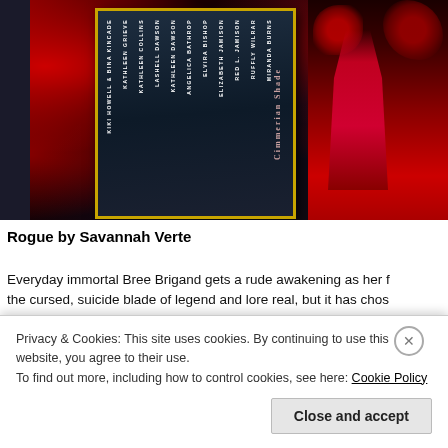[Figure (photo): Book cover collage for 'Cimmerian Shade' anthology — a dark romance/paranormal limited edition collection. Shows stacked book spines with author names including Kiki Howell & Bina Kincade, Kathleen Grieve, Kathleen Collins, Lashell Dawson, Kathleen Dawson, Angelica Bathrop, Elvira Bishop, Elizabeth Jamison, Red L. Jamison, Ruffly Wilrar, Miranda Burns, Danah Viles, Amanda Phillips, Savannah Verte, and others. Background features dark red roses and a woman in a red dress.]
Rogue by Savannah Verte
Everyday immortal Bree Brigand gets a rude awakening as her f the cursed, suicide blade of legend and lore real, but it has chos...
Privacy & Cookies: This site uses cookies. By continuing to use this website, you agree to their use.
To find out more, including how to control cookies, see here: Cookie Policy